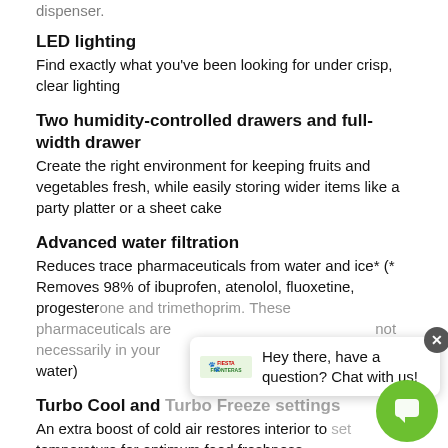dispenser.
LED lighting
Find exactly what you've been looking for under crisp, clear lighting
Two humidity-controlled drawers and full-width drawer
Create the right environment for keeping fruits and vegetables fresh, while easily storing wider items like a party platter or a sheet cake
Advanced water filtration
Reduces trace pharmaceuticals from water and ice* (* Removes 98% of ibuprofen, atenolol, fluoxetine, progesterone and trimethoprim. These pharmaceuticals are not necessarily in your water)
Turbo Cool and Turbo Freeze settings
An extra boost of cold air restores interior to temperature for optimum food freshness
Quick Space shelf
Quickly slides out of the way to make room for tall